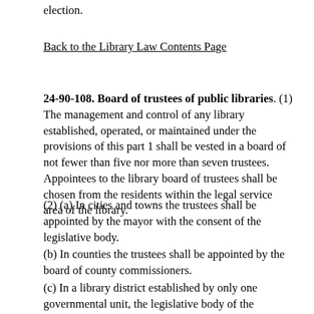election.
Back to the Library Law Contents Page
24-90-108. Board of trustees of public libraries. (1) The management and control of any library established, operated, or maintained under the provisions of this part 1 shall be vested in a board of not fewer than five nor more than seven trustees. Appointees to the library board of trustees shall be chosen from the residents within the legal service area of the library.
(2) (a) In cities and towns the trustees shall be appointed by the mayor with the consent of the legislative body.
(b) In counties the trustees shall be appointed by the board of county commissioners.
(c) In a library district established by only one governmental unit, the legislative body of the governmental unit shall decide the number of members to be appointed to the committee formed